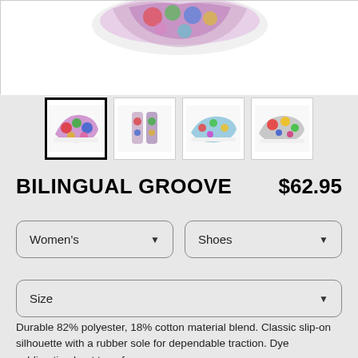[Figure (photo): Partial top view of colorful patterned slip-on shoes, cropped at the top of the page]
[Figure (photo): Four thumbnail images of colorful patterned slip-on shoes from different angles; first thumbnail is selected with a bold black border]
BILINGUAL GROOVE    $62.95
Women's (dropdown selector)
Shoes (dropdown selector)
Size (dropdown selector)
Durable 82% polyester, 18% cotton material blend. Classic slip-on silhouette with a rubber sole for dependable traction. Dye sublimation heat transfer